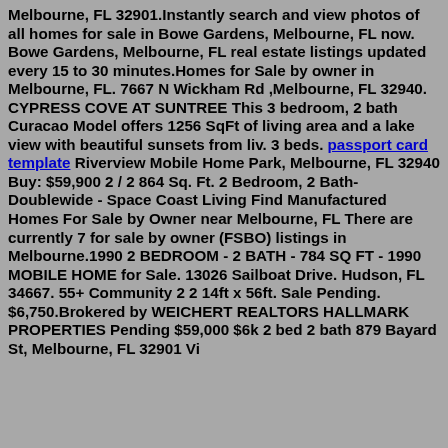Melbourne, FL 32901.Instantly search and view photos of all homes for sale in Bowe Gardens, Melbourne, FL now. Bowe Gardens, Melbourne, FL real estate listings updated every 15 to 30 minutes.Homes for Sale by owner in Melbourne, FL. 7667 N Wickham Rd ,Melbourne, FL 32940. CYPRESS COVE AT SUNTREE This 3 bedroom, 2 bath Curacao Model offers 1256 SqFt of living area and a lake view with beautiful sunsets from liv. 3 beds. passport card template Riverview Mobile Home Park, Melbourne, FL 32940 Buy: $59,900 2 / 2 864 Sq. Ft. 2 Bedroom, 2 Bath- Doublewide - Space Coast Living Find Manufactured Homes For Sale by Owner near Melbourne, FL There are currently 7 for sale by owner (FSBO) listings in Melbourne.1990 2 BEDROOM - 2 BATH - 784 SQ FT - 1990 MOBILE HOME for Sale. 13026 Sailboat Drive. Hudson, FL 34667. 55+ Community 2 2 14ft x 56ft. Sale Pending. $6,750.Brokered by WEICHERT REALTORS HALLMARK PROPERTIES Pending $59,000 $6k 2 bed 2 bath 879 Bayard St, Melbourne, FL 32901 Vi